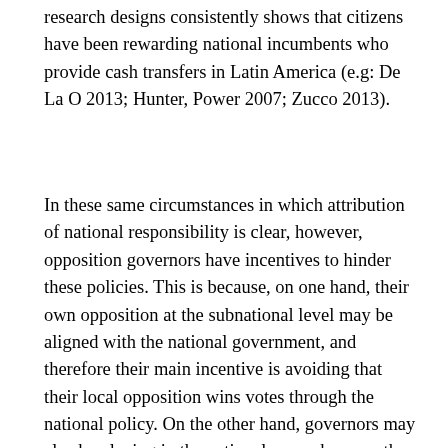research designs consistently shows that citizens have been rewarding national incumbents who provide cash transfers in Latin America (e.g: De La O 2013; Hunter, Power 2007; Zucco 2013).
In these same circumstances in which attribution of national responsibility is clear, however, opposition governors have incentives to hinder these policies. This is because, on one hand, their own opposition at the subnational level may be aligned with the national government, and therefore their main incentive is avoiding that their local opposition wins votes through the national policy. On the other hand, governors may also be playing in the national arena, because they or their allies will be competing for national elective positions. In this case, their belonging to the national opposition explains their incentives to obstruct policies that can benefit the national executive. Resistance to national policies due to political opposition can take the form of direct policy competition or